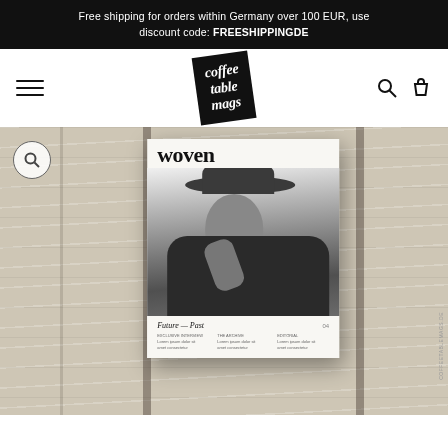Free shipping for orders within Germany over 100 EUR, use discount code: FREESHIPPINGDE
[Figure (logo): Coffee Table Mags logo — black tilted square with serif italic white text reading 'coffee table mags']
[Figure (photo): Product photo of Woven magazine issue 04 showing cover with black-and-white portrait of man wearing wide-brim hat, text 'woven' at top, 'Future — Past' subtitle, placed on a whitewashed wood plank surface]